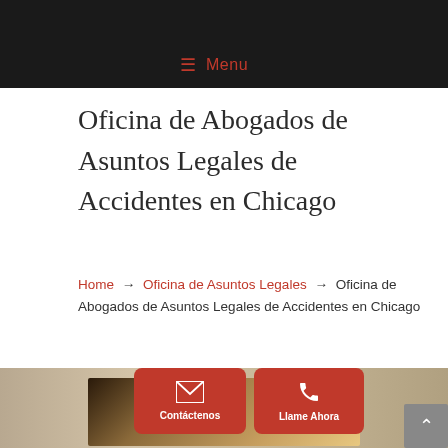≡ Menu
Oficina de Abogados de Asuntos Legales de Accidentes en Chicago
Home → Oficina de Asuntos Legales → Oficina de Abogados de Asuntos Legales de Accidentes en Chicago
[Figure (photo): Office interior photo with two red call-to-action buttons: Contáctenos (contact us with envelope icon) and Llame Ahora (call now with phone icon)]